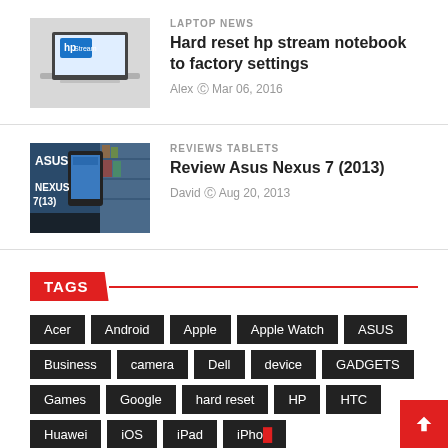[Figure (photo): HP Stream laptop on white/light background]
LAPTOP NEWS
Hard reset hp stream notebook to factory settings
Alex © Mar 06, 2016
[Figure (photo): ASUS NEXUS 7(13) tablet promotional image with blue background]
REVIEWS TABLETS
Review Asus Nexus 7 (2013)
David © Aug 20, 2013
TAGS
Acer
Android
Apple
Apple Watch
ASUS
Business
camera
Dell
device
GADGETS
Games
Google
hard reset
HP
HTC
Huawei
iOS
iPad
iPhone